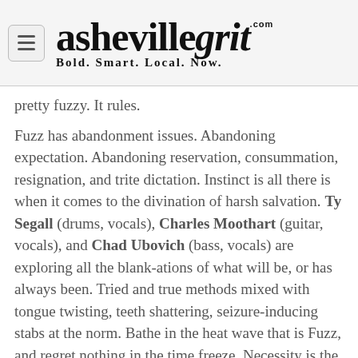ashevillegrit.com — Bold. Smart. Local. Now.
pretty fuzzy. It rules.
Fuzz has abandonment issues. Abandoning expectation. Abandoning reservation, consummation, resignation, and trite dictation. Instinct is all there is when it comes to the divination of harsh salvation. Ty Segall (drums, vocals), Charles Moothart (guitar, vocals), and Chad Ubovich (bass, vocals) are exploring all the blank-ations of what will be, or has always been. Tried and true methods mixed with tongue twisting, teeth shattering, seizure-inducing stabs at the norm. Bathe in the heat wave that is Fuzz, and regret nothing in the time freeze. Necessity is the mother of creation; and devolution stakes its claim in the past as it continues to bind itself to the future.
FUZZ plays this Thursday (11/12) at the Grey Eagle / Doors at 7pm / Show at 8pm / All ages / Tickets Please...